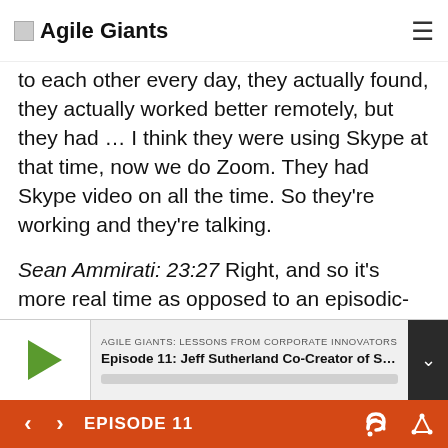Agile Giants
to each other every day, they actually found, they actually worked better remotely, but they had … I think they were using Skype at that time, now we do Zoom. They had Skype video on all the time. So they're working and they're talking.
Sean Ammirati: 23:27 Right, and so it's more real time as opposed to an episodic-
AGILE GIANTS: LESSONS FROM CORPORATE INNOVATORS
Episode 11: Jeff Sutherland Co-Creator of Scrum, ...
EPISODE 11